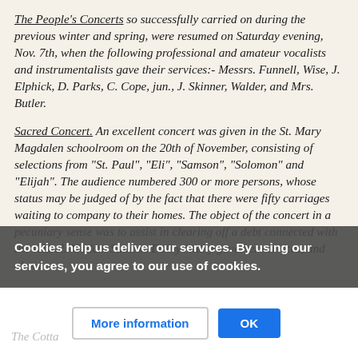The People's Concerts so successfully carried on during the previous winter and spring, were resumed on Saturday evening, Nov. 7th, when the following professional and amateur vocalists and instrumentalists gave their services:- Messrs. Funnell, Wise, J. Elphick, D. Parks, C. Cope, jun., J. Skinner, Walder, and Mrs. Butler.
Sacred Concert. An excellent concert was given in the St. Mary Magdalen schoolroom on the 20th of November, consisting of selections from "St. Paul", "Eli", "Samson", "Solomon" and "Elijah". The audience numbered 300 or more persons, whose status may be judged of by the fact that there were fifty carriages waiting to company to their homes. The object of the concert in a pecuniary sense was to assist in clearing off a debt connected with the school. Madam Sainton-Dolby kindly gave her services, and about £120 will be realized for the above purpose.
Cookies help us deliver our services. By using our services, you agree to our use of cookies.
The Cotta...